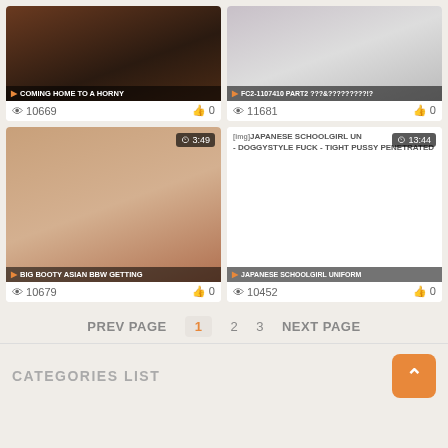[Figure (screenshot): Video thumbnail grid with 4 video cards]
COMING HOME TO A HORNY | views: 10669 | likes: 0
FC2-1107410 PART2 ???&?????????!? | views: 11681 | likes: 0
BIG BOOTY ASIAN BBW GETTING | views: 10679 | likes: 0
JAPANESE SCHOOLGIRL UNIFORM - DOGGYSTYLE FUCK - TIGHT PUSSY PENETRATED | views: 10452 | likes: 0
PREV PAGE  1  2  3  NEXT PAGE
CATEGORIES LIST